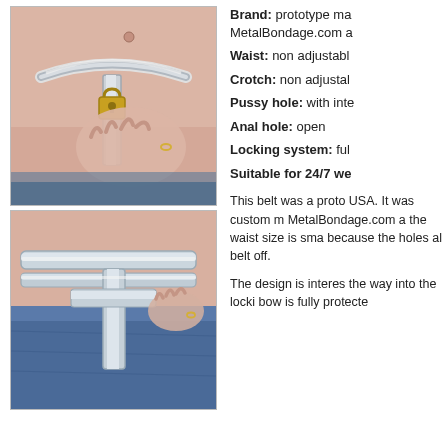[Figure (photo): Close-up photo of a metal chastity belt around a woman's waist, showing the waistband and crotch piece with a padlock, top view]
[Figure (photo): Photo of a metal chastity belt being worn with jeans, showing the back/side view of the crotch shield and waistband]
Brand: prototype ma MetalBondage.com a
Waist: non adjustabl
Crotch: non adjustal
Pussy hole: with inte
Anal hole: open
Locking system: ful
Suitable for 24/7 we
This belt was a proto USA. It was custom m MetalBondage.com a the waist size is sma because the holes al belt off.
The design is interes the way into the locki bow is fully protected